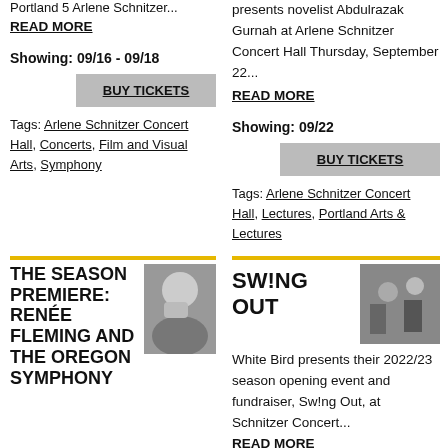Portland 5 Arlene Schnitzer...
READ MORE
Showing: 09/16 - 09/18
BUY TICKETS
Tags: Arlene Schnitzer Concert Hall, Concerts, Film and Visual Arts, Symphony
presents novelist Abdulrazak Gurnah at Arlene Schnitzer Concert Hall Thursday, September 22...
READ MORE
Showing: 09/22
BUY TICKETS
Tags: Arlene Schnitzer Concert Hall, Lectures, Portland Arts & Lectures
[Figure (photo): Photo of Renée Fleming]
THE SEASON PREMIERE: RENÉE FLEMING AND THE OREGON SYMPHONY
[Figure (photo): Photo of Swing Out performance]
SW!NG OUT
White Bird presents their 2022/23 season opening event and fundraiser, Sw!ng Out, at Schnitzer Concert...
READ MORE